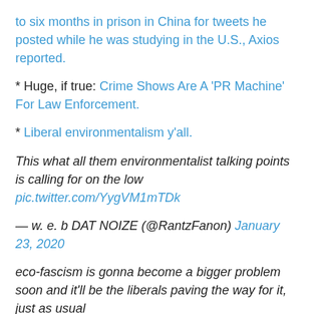to six months in prison in China for tweets he posted while he was studying in the U.S., Axios reported.
* Huge, if true: Crime Shows Are A 'PR Machine' For Law Enforcement.
* Liberal environmentalism y'all.
This what all them environmentalist talking points is calling for on the low pic.twitter.com/YygVM1mTDk
— w. e. b DAT NOIZE (@RantzFanon) January 23, 2020
eco-fascism is gonna become a bigger problem soon and it'll be the liberals paving the way for it, just as usual https://t.co/djQ3QMG50d
— hsna (@BlazeQuark) January 25, 2020